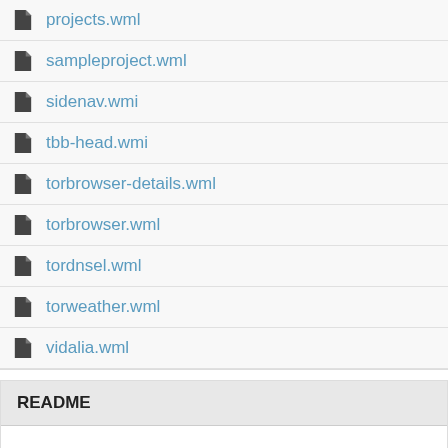projects.wml
sampleproject.wml
sidenav.wmi
tbb-head.wmi
torbrowser-details.wml
torbrowser.wml
tordnsel.wml
torweather.wml
vidalia.wml
README
Here are the instructions I sent David Fifield when he asked about editing
See the Makefile local file in your website/trunk/ directory. Uncomment T